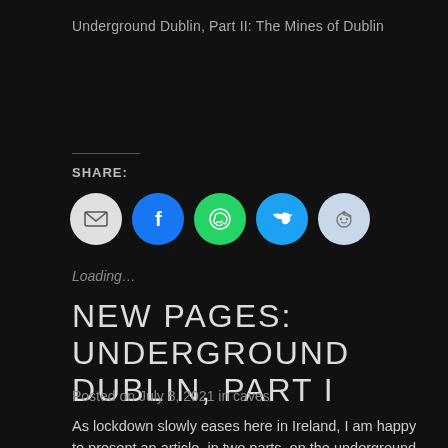Underground Dublin, Part II: The Mines of Dublin
SHARE:
[Figure (infographic): Five social sharing buttons: email (grey), Facebook (blue), WhatsApp (green), Twitter (light blue), Reddit (light blue-grey)]
Loading…
NEW PAGES: UNDERGROUND DUBLIN, PART I
Posted on July 8, 2021 in caves
As lockdown slowly eases here in Ireland, I am happy to present an article, in two parts, on the underground